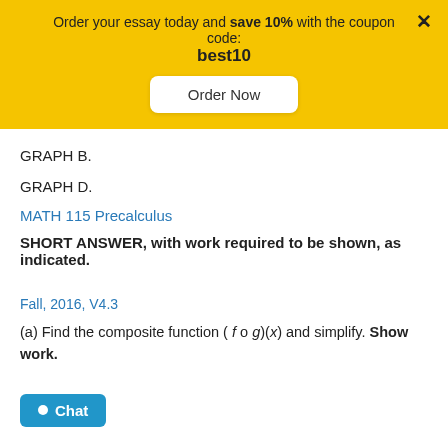Order your essay today and save 10% with the coupon code: best10
Order Now
GRAPH B.
GRAPH D.
MATH 115 Precalculus
SHORT ANSWER, with work required to be shown, as indicated.
Fall, 2016, V4.3
(a) Find the composite function ( f o g)(x) and simplify. Show work.